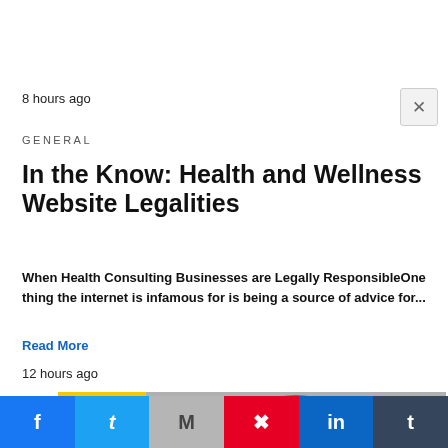8 hours ago
GENERAL
In the Know: Health and Wellness Website Legalities
When Health Consulting Businesses are Legally ResponsibleOne thing the internet is infamous for is being a source of advice for...
Read More
12 hours ago
[Figure (photo): Photo of a large dark grey dog with a red collar, next to a yellow 'NEW' product box]
Facebook | Twitter | Email | Pinterest | LinkedIn | Tumblr